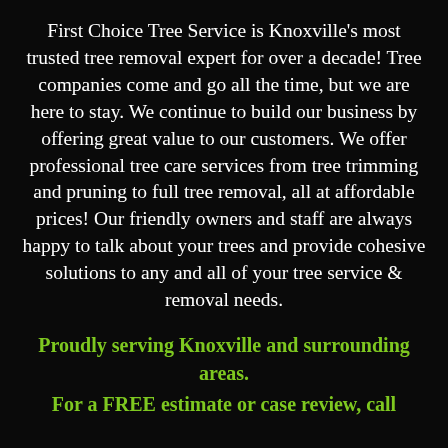First Choice Tree Service is Knoxville's most trusted tree removal expert for over a decade! Tree companies come and go all the time, but we are here to stay. We continue to build our business by offering great value to our customers. We offer professional tree care services from tree trimming and pruning to full tree removal, all at affordable prices! Our friendly owners and staff are always happy to talk about your trees and provide cohesive solutions to any and all of your tree service & removal needs.
Proudly serving Knoxville and surrounding areas.
For a FREE estimate or case review, call